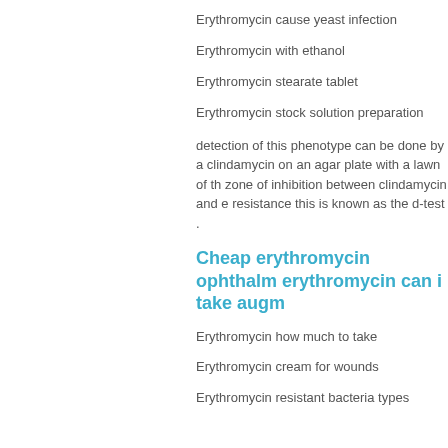Erythromycin cause yeast infection
Erythromycin with ethanol
Erythromycin stearate tablet
Erythromycin stock solution preparation
detection of this phenotype can be done by a clindamycin on an agar plate with a lawn of th zone of inhibition between clindamycin and e resistance this is known as the d-test .
Cheap erythromycin ophthalm erythromycin can i take augm
Erythromycin how much to take
Erythromycin cream for wounds
Erythromycin resistant bacteria types